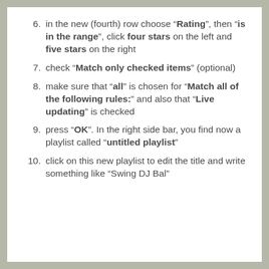in the new (fourth) row choose "Rating", then "is in the range", click four stars on the left and five stars on the right
check "Match only checked items" (optional)
make sure that "all" is chosen for "Match all of the following rules:" and also that "Live updating" is checked
press "OK". In the right side bar, you find now a playlist called "untitled playlist"
click on this new playlist to edit the title and write something like "Swing DJ Bal"